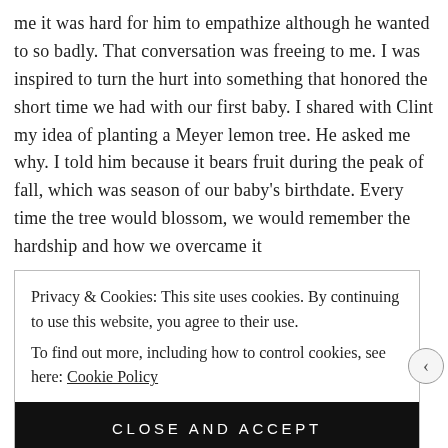me it was hard for him to empathize although he wanted to so badly. That conversation was freeing to me. I was inspired to turn the hurt into something that honored the short time we had with our first baby. I shared with Clint my idea of planting a Meyer lemon tree. He asked me why. I told him because it bears fruit during the peak of fall, which was season of our baby's birthdate. Every time the tree would blossom, we would remember the hardship and how we overcame it
Privacy & Cookies: This site uses cookies. By continuing to use this website, you agree to their use.
To find out more, including how to control cookies, see here: Cookie Policy
CLOSE AND ACCEPT